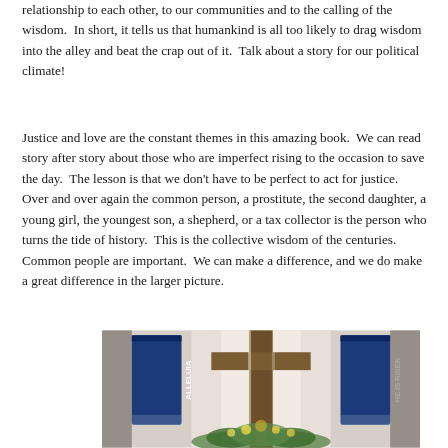relationship to each other, to our communities and to the calling of the wisdom.  In short, it tells us that humankind is all too likely to drag wisdom into the alley and beat the crap out of it.  Talk about a story for our political climate!
Justice and love are the constant themes in this amazing book.  We can read story after story about those who are imperfect rising to the occasion to save the day.  The lesson is that we don't have to be perfect to act for justice.  Over and over again the common person, a prostitute, the second daughter, a young girl, the youngest son, a shepherd, or a tax collector is the person who turns the tide of history.  This is the collective wisdom of the centuries.  Common people are important.  We can make a difference, and we do make a great difference in the larger picture.
[Figure (photo): Interior of a church sanctuary showing a large wooden cross at the center with backlighting creating a glow effect. Two blue banners hang on either side — the left reads 'ALLELUIA' and the right reads 'HE IS RISEN'. Floral arrangements with greenery are displayed at the base of the cross.]